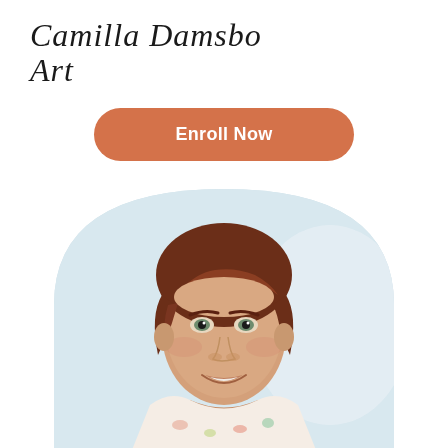Camilla Damsbo Art
Enroll Now
[Figure (photo): Portrait photo of a young woman with short auburn/brown hair and a warm smile, wearing a floral collared top, displayed in an arch/rounded-top frame with a light blue-grey background.]